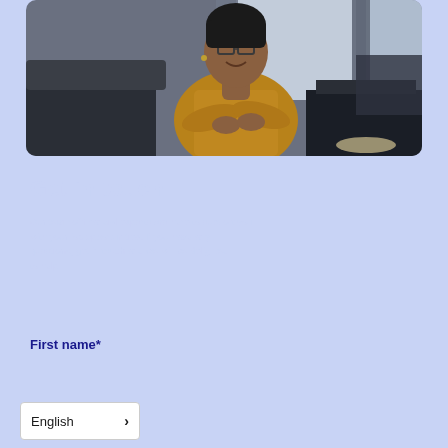[Figure (photo): A smiling woman with short hair and glasses wearing a mustard/golden yellow shirt, arms crossed, standing in an office or lounge setting with sofas and a window in the background.]
Get in touch
Our team of financial experts are here to support you with your job opportunities. If you have any questions, get in touch and we will be delighted to help.
First name*
English >